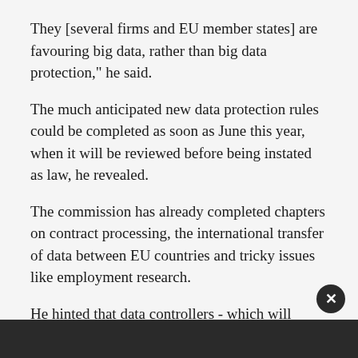They [several firms and EU member states] are favouring big data, rather than big data protection," he said.
The much anticipated new data protection rules could be completed as soon as June this year, when it will be reviewed before being instated as law, he revealed.
The commission has already completed chapters on contract processing, the international transfer of data between EU countries and tricky issues like employment research.
He hinted that data controllers - which will include firms, local authorities and service providers that use customer or public data - will be held more